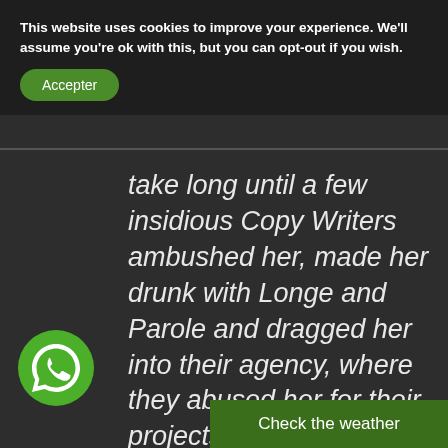This website uses cookies to improve your experience. We'll assume you're ok with this, but you can opt-out if you wish.
Accepter
take long until a few insidious Copy Writers ambushed her, made her drunk with Longe and Parole and dragged her into their agency, where they abused her for their projects.
[Figure (logo): WhatsApp chat icon — white speech bubble with phone handset on green circle background]
Check the weather